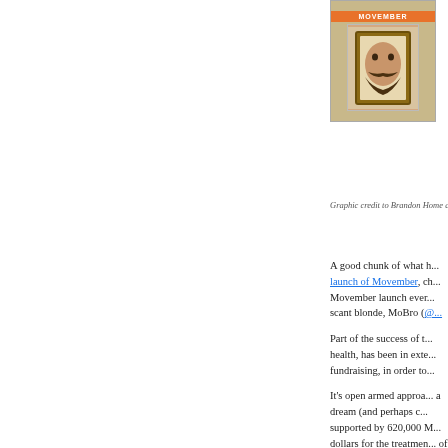[Figure (photo): Movember promotional image with a man holding a framed picture featuring a mustache, with an orange Movember banner at the top]
Graphic credit to Brandon Home a...
A good chunk of what h... launch of Movember, ch... Movember launch ever... scant blonde, MoBro (@...
Part of the success of t... health, has been in exte... fundraising, in order to...
It's open armed approa... a dream (and perhaps c... supported by 620,000 M... dollars for the treatmen... of Movember has not b... moment; it's more beer... and change their appea...
Here's the impressive...